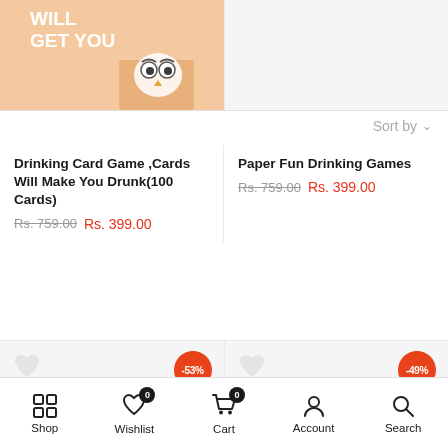[Figure (screenshot): Top half of two product cards showing product images — left card shows an orange/peach colored card game box with text 'WILL GET YOU' and an owl illustration, right card is partially visible empty product image placeholder]
Sort by
Drinking Card Game ,Cards Will Make You Drunk(100 Cards)
Rs. 759.00  Rs. 399.00
Paper Fun Drinking Games
Rs. 759.00  Rs. 399.00
[Figure (screenshot): Bottom product cards row — left card shows -53% orange discount badge and loading spinner, right card shows -49% orange discount badge and loading spinner]
Shop   Wishlist 0   Cart 0   Account   Search